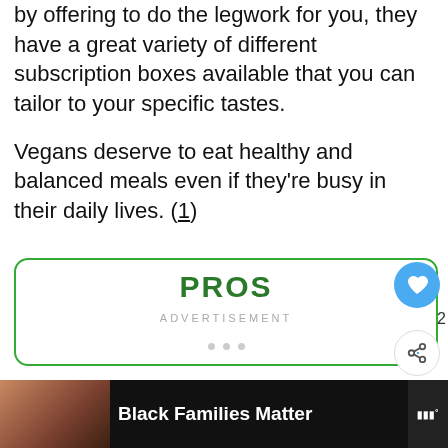by offering to do the legwork for you, they have a great variety of different subscription boxes available that you can tailor to your specific tastes.
Vegans deserve to eat healthy and balanced meals even if they're busy in their daily lives. (1)
PROS
ADVERTISEMENT
[Figure (screenshot): Social media sidebar with heart (like) button showing blue circle icon, share count of 2, share button, and Privacy - Terms text]
[Figure (screenshot): What's Next panel showing article preview: The Best Vegan Cerea... with thumbnail image]
[Figure (screenshot): Bottom advertisement banner with photo of people, Black Families Matter text in white on dark background, close X button, and publisher logo]